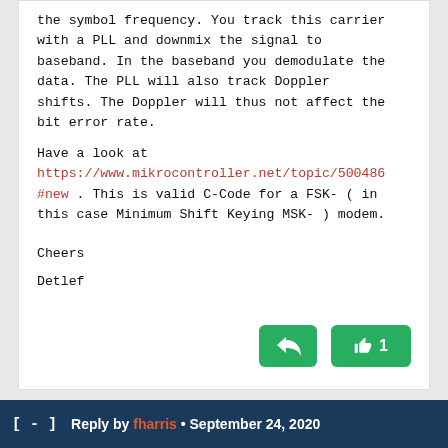the symbol frequency. You track this carrier with a PLL and downmix the signal to baseband. In the baseband you demodulate the data. The PLL will also track Doppler shifts. The Doppler will thus not affect the bit error rate.
Have a look at https://www.mikrocontroller.net/topic/500486 #new . This is valid C-Code for a FSK- ( in this case Minimum Shift Keying MSK- ) modem.
Cheers
Detlef
Reply by fharris • September 24, 2020